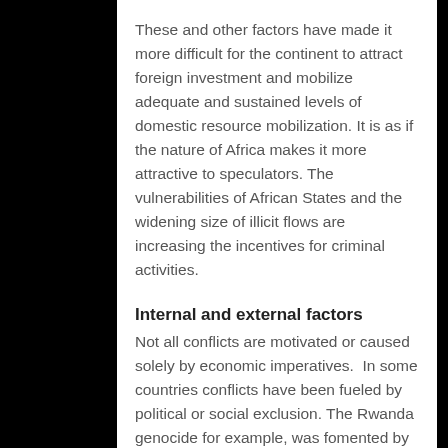These and other factors have made it more difficult for the continent to attract foreign investment and mobilize adequate and sustained levels of domestic resource mobilization. It is as if the nature of Africa makes it more attractive to speculators. The vulnerabilities of African States and the widening size of illicit flows are increasing the incentives for criminal activities.
Internal and external factors
Not all conflicts are motivated or caused solely by economic imperatives.  In some countries conflicts have been fueled by political or social exclusion. The Rwanda genocide for example, was fomented by the Tutsi alienation and exclusion for decades. In